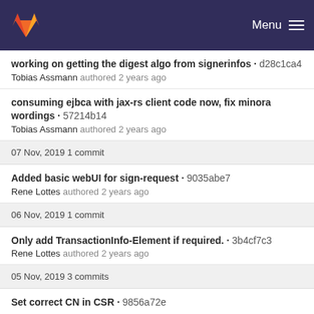Menu
working on getting the digest algo from signerinfos · d28c1ca4
Tobias Assmann authored 2 years ago
consuming ejbca with jax-rs client code now, fix minora wordings · 57214b14
Tobias Assmann authored 2 years ago
07 Nov, 2019 1 commit
Added basic webUI for sign-request · 9035abe7
Rene Lottes authored 2 years ago
06 Nov, 2019 1 commit
Only add TransactionInfo-Element if required. · 3b4cf7c3
Rene Lottes authored 2 years ago
05 Nov, 2019 3 commits
Set correct CN in CSR · 9856a72e